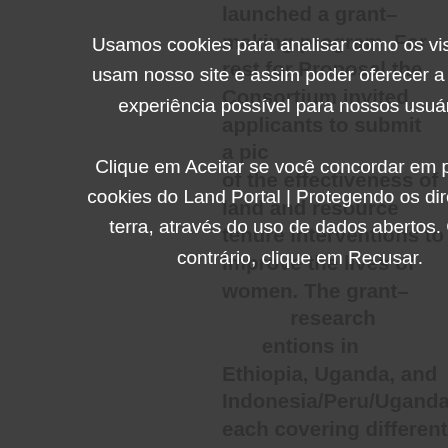launched a grant-making program. For rest for Proposal the Consortium invited applicants to submit a pic of the effectiveness of land and resource tenure interventions to improve the lives of women. The grant-search entions in Ethiopia, Uganda, and Indonesia/Peru/Uganda, each covering different intervention types: large-scale, systematic land certification to
Usamos cookies para analisar como os visitantes usam nosso site e assim poder oferecer a melhor experiência possível para nossos usuários. Clique em Aceitar se você concordar em permitir cookies do Land Portal | Protegendo os direitos da terra, através do uso de dados abertos. Caso contrário, clique em Recusar.